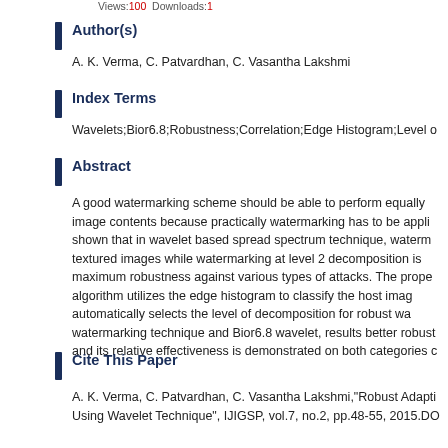Views:100   Downloads:1
Author(s)
A. K. Verma, C. Patvardhan, C. Vasantha Lakshmi
Index Terms
Wavelets;Bior6.8;Robustness;Correlation;Edge Histogram;Level o
Abstract
A good watermarking scheme should be able to perform equally image contents because practically watermarking has to be appli shown that in wavelet based spread spectrum technique, waterm textured images while watermarking at level 2 decomposition is maximum robustness against various types of attacks. The prope algorithm utilizes the edge histogram to classify the host imag automatically selects the level of decomposition for robust wa watermarking technique and Bior6.8 wavelet, results better robust and its relative effectiveness is demonstrated on both categories c
Cite This Paper
A. K. Verma, C. Patvardhan, C. Vasantha Lakshmi,"Robust Adapti Using Wavelet Technique", IJIGSP, vol.7, no.2, pp.48-55, 2015.DO